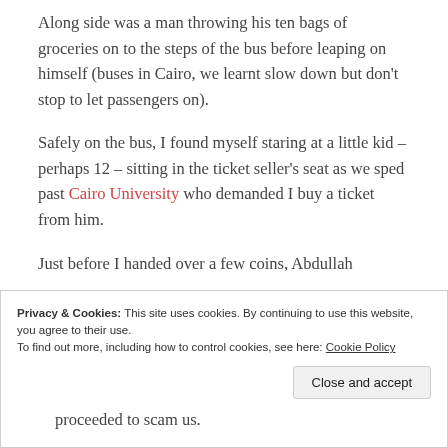Along side was a man throwing his ten bags of groceries on to the steps of the bus before leaping on himself (buses in Cairo, we learnt slow down but don't stop to let passengers on).
Safely on the bus, I found myself staring at a little kid – perhaps 12 – sitting in the ticket seller's seat as we sped past Cairo University who demanded I buy a ticket from him.
Just before I handed over a few coins, Abdullah
Privacy & Cookies: This site uses cookies. By continuing to use this website, you agree to their use. To find out more, including how to control cookies, see here: Cookie Policy
proceeded to scam us.